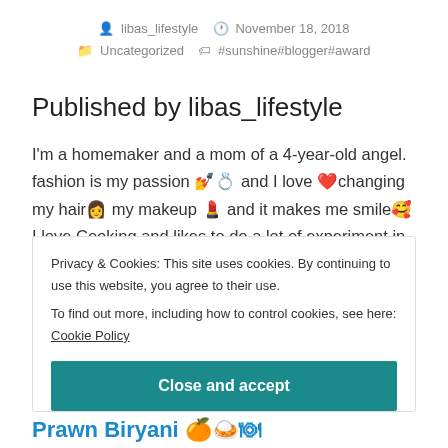libas_lifestyle  November 18, 2018  Uncategorized  #sunshine#blogger#award
Published by libas_lifestyle
I'm a homemaker and a mom of a 4-year-old angel. fashion is my passion 💅💍 and I love ❤️changing my hair👩 my makeup 💄 and it makes me smile🥰 I love Cooking and likes to do a lot of experiment in the
Privacy & Cookies: This site uses cookies. By continuing to use this website, you agree to their use.
To find out more, including how to control cookies, see here: Cookie Policy
Close and accept
Prawn Biryani 🍊🍛🍽